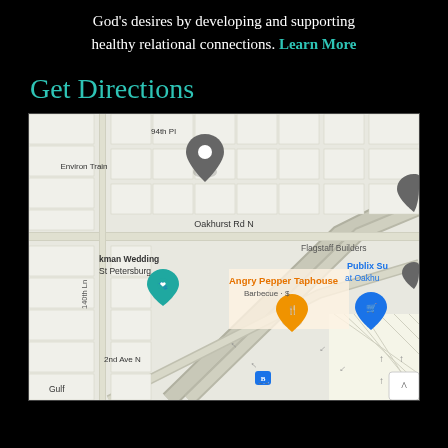God's desires by developing and supporting healthy relational connections. Learn More
Get Directions
[Figure (map): Google Maps screenshot showing area around Oakhurst Rd N in St. Petersburg, FL. Visible landmarks include Environ Train, 94th Pl, Flagstaff Builders, Angry Pepper Taphouse (Barbecue + $), Publix Su at Oakhu, 140th Ln, 2nd Ave N, Gulf. A location pin is shown near the center-top area.]